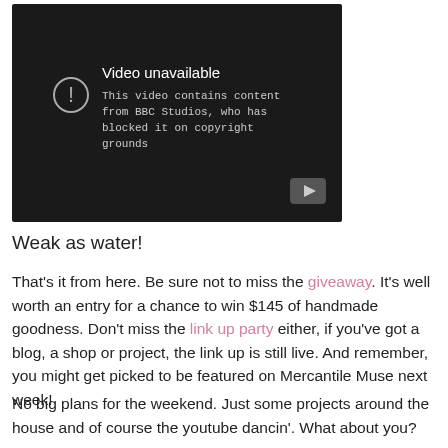[Figure (screenshot): YouTube video unavailable screen with dark background. Shows an exclamation mark circle icon, text 'Video unavailable', and subtitle 'This video contains content from BBC Studios, who has blocked it on copyright grounds'. YouTube logo button visible at bottom right.]
Weak as water!
That's it from here. Be sure not to miss the giveaway. It's well worth an entry for a chance to win $145 of handmade goodness. Don't miss the link up party either, if you've got a blog, a shop or project, the link up is still live. And remember, you might get picked to be featured on Mercantile Muse next week!
No big plans for the weekend. Just some projects around the house and of course the youtube dancin'. What about you?